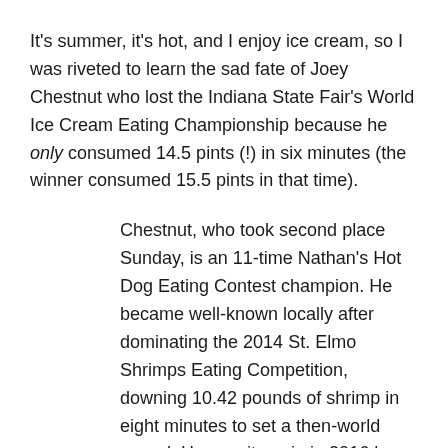It's summer, it's hot, and I enjoy ice cream, so I was riveted to learn the sad fate of Joey Chestnut who lost the Indiana State Fair's World Ice Cream Eating Championship because he only consumed 14.5 pints (!) in six minutes (the winner consumed 15.5 pints in that time).
Chestnut, who took second place Sunday, is an 11-time Nathan's Hot Dog Eating Contest champion. He became well-known locally after dominating the 2014 St. Elmo Shrimps Eating Competition, downing 10.42 pounds of shrimp in eight minutes to set a then-world record. He won it again in 2016 by wolfing down 15 pounds of shrimp. And again in 2017, eating 10 pounds and 6 ounces.